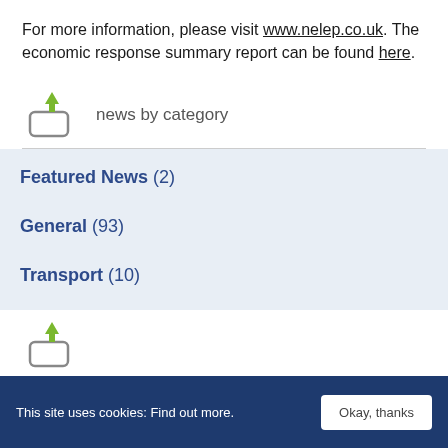For more information, please visit www.nelep.co.uk. The economic response summary report can be found here.
news by category
Featured News (2)
General (93)
Transport (10)
This site uses cookies: Find out more.   Okay, thanks